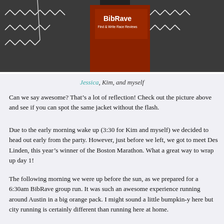[Figure (photo): Photo of three women wearing black and white patterned jackets; the middle person wears a red BibRave shirt reading 'Find & Write Race Reviews']
Jessica, Kim, and myself
Can we say awesome? That's a lot of reflection! Check out the picture above and see if you can spot the same jacket without the flash.
Due to the early morning wake up (3:30 for Kim and myself) we decided to head out early from the party. However, just before we left, we got to meet Des Linden, this year's winner of the Boston Marathon. What a great way to wrap up day 1!
The following morning we were up before the sun, as we prepared for a 6:30am BibRave group run. It was such an awesome experience running around Austin in a big orange pack. I might sound a little bumpkin-y here but city running is certainly different than running here at home.